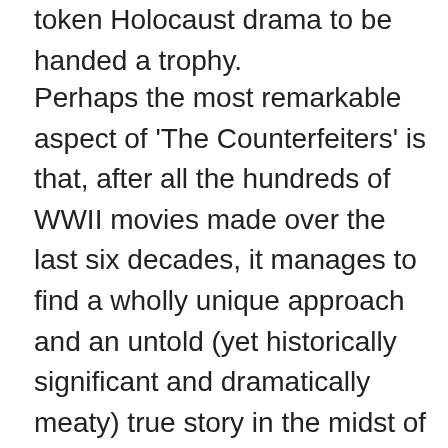token Holocaust drama to be handed a trophy.
Perhaps the most remarkable aspect of 'The Counterfeiters' is that, after all the hundreds of WWII movies made over the last six decades, it manages to find a wholly unique approach and an untold (yet historically significant and dramatically meaty) true story in the midst of such familiar events. The script has been lightly fictionalized to change the names of many of the now-deceased participants, but is based on the memoirs of concentration camp survivor Adolf Burger. The author recounts a tale of a group of Jews that the Nazis actually needed for their war effort and consequently treated relatively well (or at least as well as could be possible in a concentration camp), while their fellow countrymen were being starved and